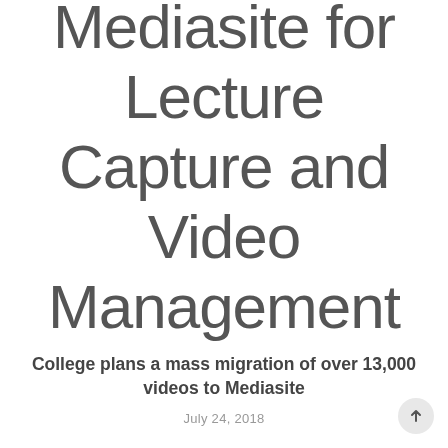Mediasite for Lecture Capture and Video Management
College plans a mass migration of over 13,000 videos to Mediasite
July 24, 2018